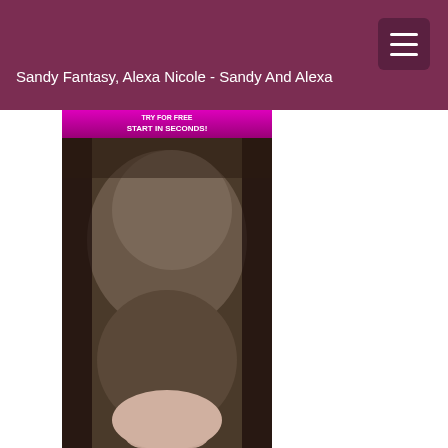Sandy Fantasy, Alexa Nicole - Sandy And Alexa
[Figure (photo): A photograph with a pink/magenta banner at the top reading 'START IN SECONDS!' over an adult content image]